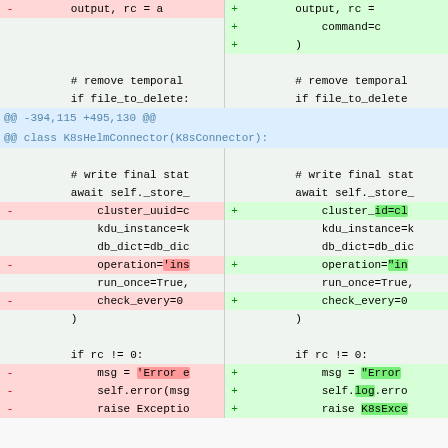[Figure (screenshot): A code diff view showing two columns (left: removed lines in red, right: added lines in green) of Python source code. The diff shows changes to a K8sHelmConnector class, including changes to function calls with parameters like cluster_uuid→cluster_id, operation string quoting, and error handling (self.error→self.log.error, Exception→K8sException).]